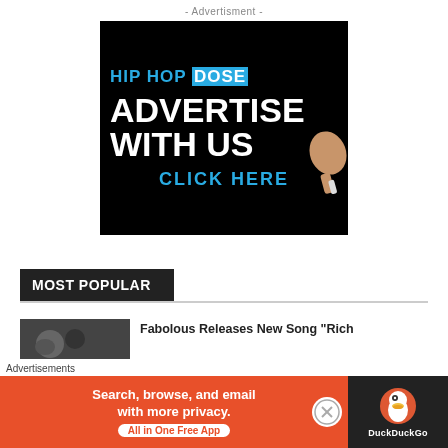- Advertisment -
[Figure (illustration): Hip Hop Dose advertise with us banner. Black background with 'HIP HOP DOSE' in teal/white, 'ADVERTISE WITH US' in large white bold text, 'CLICK HERE' in teal, and a hand holding chalk on the right side.]
MOST POPULAR
[Figure (photo): Thumbnail photo for article about Fabolous]
Fabolous Releases New Song "Rich
[Figure (illustration): DuckDuckGo advertisement banner. Orange left side: 'Search, browse, and email with more privacy. All in One Free App'. Dark right side with DuckDuckGo duck logo and name.]